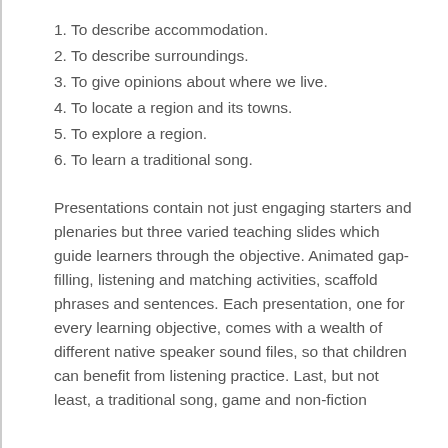1. To describe accommodation.
2. To describe surroundings.
3. To give opinions about where we live.
4. To locate a region and its towns.
5. To explore a region.
6. To learn a traditional song.
Presentations contain not just engaging starters and plenaries but three varied teaching slides which guide learners through the objective. Animated gap-filling, listening and matching activities, scaffold phrases and sentences. Each presentation, one for every learning objective, comes with a wealth of different native speaker sound files, so that children can benefit from listening practice. Last, but not least, a traditional song, game and non-fiction